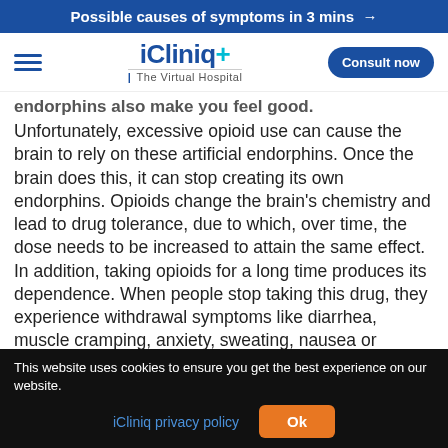Possible causes of symptoms in 3 mins →
[Figure (logo): iCliniq+ The Virtual Hospital logo with hamburger menu and Consult now button]
endorphins also make you feel good. Unfortunately, excessive opioid use can cause the brain to rely on these artificial endorphins. Once the brain does this, it can stop creating its own endorphins. Opioids change the brain's chemistry and lead to drug tolerance, due to which, over time, the dose needs to be increased to attain the same effect. In addition, taking opioids for a long time produces its dependence. When people stop taking this drug, they experience withdrawal symptoms like diarrhea, muscle cramping, anxiety, sweating, nausea or vomiting, chills, shaking, pain,
This website uses cookies to ensure you get the best experience on our website. iCliniq privacy policy  Ok